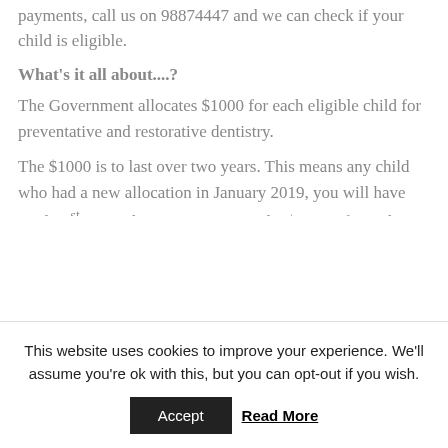payments, call us on 98874447 and we can check if your child is eligible.
What's it all about....?
The Government allocates $1000 for each eligible child for preventative and restorative dentistry.
The $1000 is to last over two years. This means any child who had a new allocation in January 2019, you will have until 31st December 2020 to use up the $1000. If you don't use it... you'll lose it.
This website uses cookies to improve your experience. We'll assume you're ok with this, but you can opt-out if you wish.
Accept
Read More